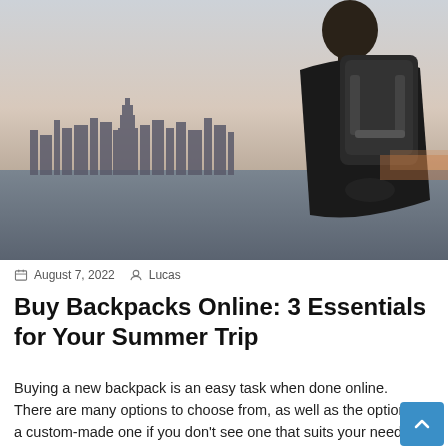[Figure (photo): Man wearing a large black backpack standing by a waterfront, looking at a city skyline (New York City with Empire State Building visible) at dusk or dawn. He is dressed in a dark jacket.]
August 7, 2022   Lucas
Buy Backpacks Online: 3 Essentials for Your Summer Trip
Buying a new backpack is an easy task when done online. There are many options to choose from, as well as the option of a custom-made one if you don't see one that suits your needs.